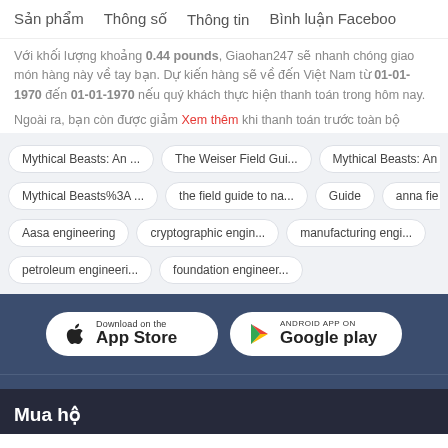Sản phẩm   Thông số   Thông tin   Bình luận Faceboo
Với khối lượng khoảng 0.44 pounds, Giaohan247 sẽ nhanh chóng giao món hàng này về tay bạn. Dự kiến hàng sẽ về đến Việt Nam từ 01-01-1970 đến 01-01-1970 nếu quý khách thực hiện thanh toán trong hôm nay.
Ngoài ra, bạn còn được giảm ... khi thanh toán trước toàn bộ ...
Xem thêm
Mythical Beasts: An ...
The Weiser Field Gui...
Mythical Beasts: An
Mythical Beasts%3A ...
the field guide to na...
Guide
anna fie
Aasa engineering
cryptographic engin...
manufacturing engi...
petroleum engineeri...
foundation engineer...
[Figure (other): Download on the App Store button]
[Figure (other): Android App on Google play button]
Mua hộ